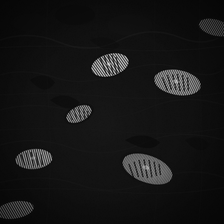[Figure (photo): Close-up macro photograph of a black knitted or woven textile fabric showing an openwork/lace pattern. The fabric has a dense dark black fibrous texture with several diamond or leaf-shaped openings revealing a lighter silvery-white material underneath. The openings display a ribbed or striated interior pattern creating a contrast of bright white/silver striped gaps against the predominantly black fuzzy textile surface.]